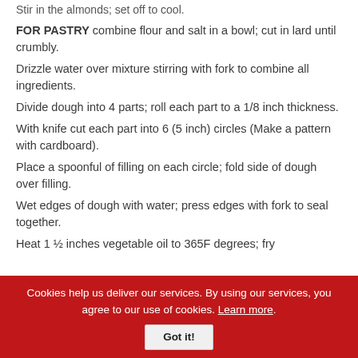Stir in the almonds; set off to cool.
FOR PASTRY combine flour and salt in a bowl; cut in lard until crumbly.
Drizzle water over mixture stirring with fork to combine all ingredients.
Divide dough into 4 parts; roll each part to a 1/8 inch thickness.
With knife cut each part into 6 (5 inch) circles (Make a pattern with cardboard).
Place a spoonful of filling on each circle; fold side of dough over filling.
Wet edges of dough with water; press edges with fork to seal together.
Heat 1 ½ inches vegetable oil to 365F degrees; fry
Cookies help us deliver our services. By using our services, you agree to our use of cookies. Learn more. Got it!